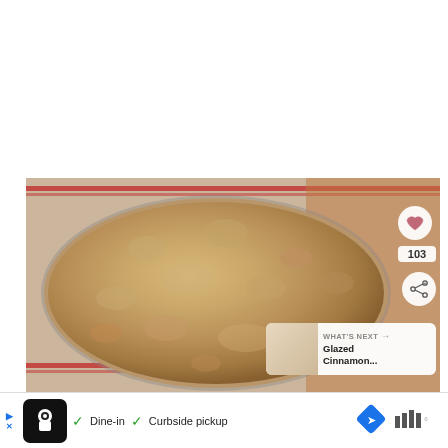[Figure (photo): Overhead view of brown powder (likely flour or spice mix) in a round metal pan, set on a white cloth with red stripes. UI overlay shows a heart/save button, share button, count 103, and a 'What's Next' card for Glazed Cinnamon...]
103
WHAT'S NEXT → Glazed Cinnamon...
[Figure (infographic): Advertisement banner: chef logo, Dine-in checkmark, Curbside pickup checkmark, map/directions icon, and brand logo on right]